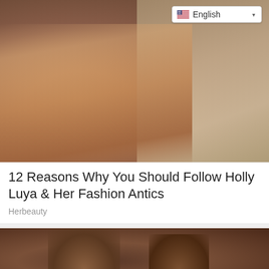[Figure (photo): Woman lying on a hammock in a black bikini/swimwear, looking at camera, dark hair, tropical setting. Language selector button showing US flag and 'English' with dropdown arrow in top right corner.]
12 Reasons Why You Should Follow Holly Luya & Her Fashion Antics
Herbeauty
[Figure (photo): A man embracing a woman from behind in a dark, period-style setting. The woman has an ornate updo and gold necklace, looking distressed or pensive. Dark cinematic tone.]